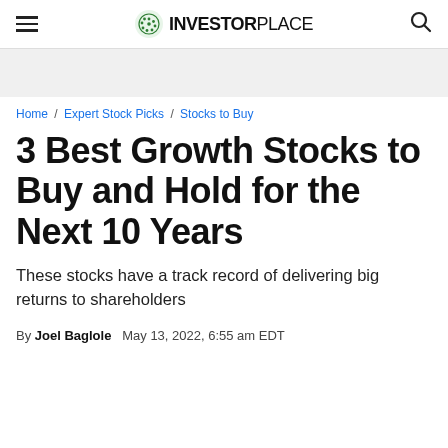INVESTORPLACE
Home / Expert Stock Picks / Stocks to Buy
3 Best Growth Stocks to Buy and Hold for the Next 10 Years
These stocks have a track record of delivering big returns to shareholders
By Joel Baglole   May 13, 2022, 6:55 am EDT